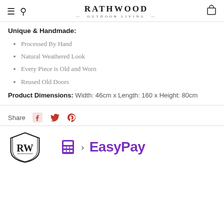RATHWOOD — OUTDOOR LIVING
Unique & Handmade:
Processed By Hand
Natural Weathered Look
Every Piece is Old and Worn
Reused Old Doors
Product Dimensions: Width: 46cm x Length: 160 x Height: 80cm
Share
[Figure (logo): RW shield logo for Rathwood and EasyPay logo with calculator icon]